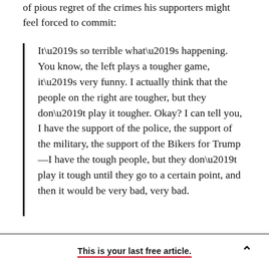of pious regret of the crimes his supporters might feel forced to commit:
It’s so terrible what’s happening. You know, the left plays a tougher game, it’s very funny. I actually think that the people on the right are tougher, but they don’t play it tougher. Okay? I can tell you, I have the support of the police, the support of the military, the support of the Bikers for Trump—I have the tough people, but they don’t play it tough until they go to a certain point, and then it would be very bad, very bad.
This is your last free article.